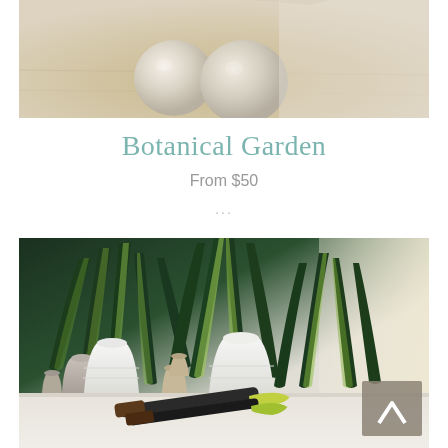[Figure (photo): Top portion of a lifestyle photo showing ceramic spherical vases on a wooden surface, cropped at the top of the page]
Botanical Garden
From $50
...
[Figure (photo): Photo of snake plants (Sansevieria) in white ceramic pots and gray pots arranged on a white shelf near a bright window, with small garden tools in the foreground. A gray back-to-top button with an upward arrow is in the bottom right corner.]